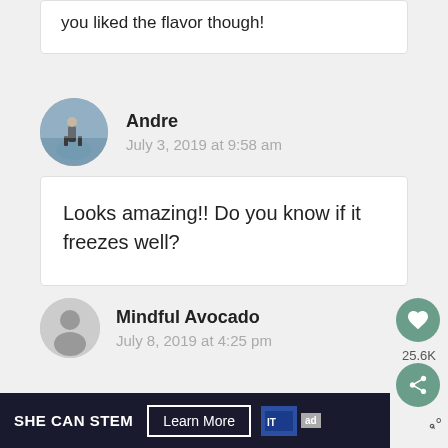you liked the flavor though!
Andre
July 3, 2019 at 9:58 am
Looks amazing!! Do you know if it freezes well?
Mindful Avocado
July 8, 2019 at 4:25 pm
SHE CAN STEM  Learn More  ad